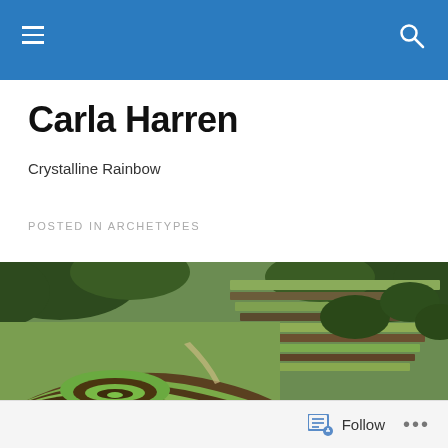Carla Harren
Crystalline Rainbow
POSTED IN ARCHETYPES
[Figure (photo): Aerial photo of Incan terraced agricultural fields (Moray, Peru) showing circular and curved green and brown earthwork terraces on a hillside]
Follow ...